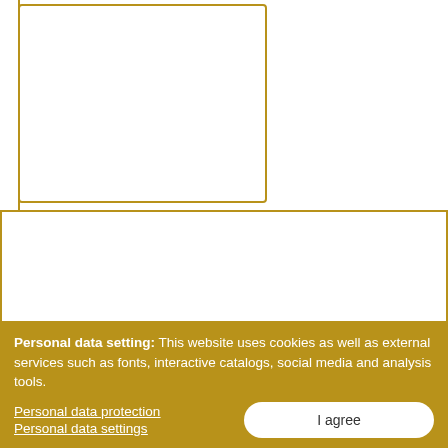[Figure (other): Partial product image box with gold border, top half of page]
Red hues
116218-001
116219-001
116220-001
Personal data setting: This website uses cookies as well as external services such as fonts, interactive catalogs, social media and analysis tools.
Personal data protection
Personal data settings
I agree